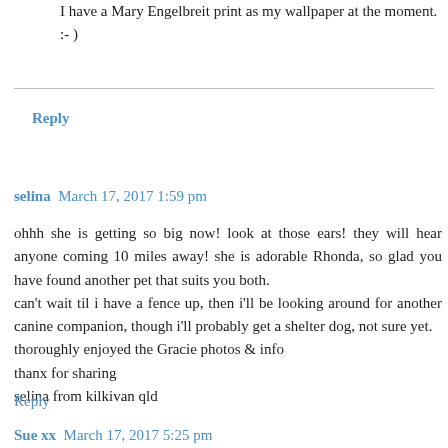I have a Mary Engelbreit print as my wallpaper at the moment. :- )
Reply
selina  March 17, 2017 1:59 pm
ohhh she is getting so big now! look at those ears! they will hear anyone coming 10 miles away! she is adorable Rhonda, so glad you have found another pet that suits you both.
can't wait til i have a fence up, then i'll be looking around for another canine companion, though i'll probably get a shelter dog, not sure yet.
thoroughly enjoyed the Gracie photos & info
thanx for sharing
selina from kilkivan qld
Reply
Sue xx  March 17, 2017 5:25 pm